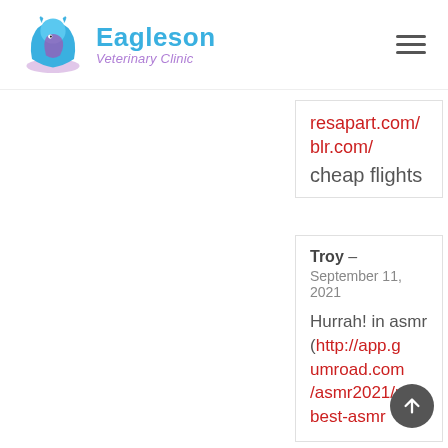[Figure (logo): Eagleson Veterinary Clinic logo with a blue and purple animal silhouette icon and stylized text]
resapart.com/blr.com/
blr.com/
cheap flights
Troy – September 11, 2021
Hurrah! in asmr (http://app.gumroad.com/asmr2021/p/best-asmr...
[Figure (other): Scroll-to-top circular button with upward arrow]